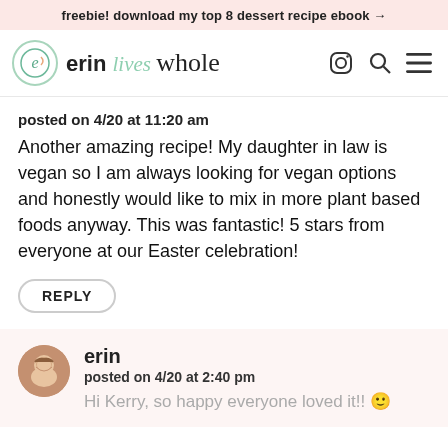freebie! download my top 8 dessert recipe ebook →
[Figure (logo): Erin Lives Whole logo with circular icon and stylized text, plus Instagram, search, and hamburger menu icons]
posted on 4/20 at 11:20 am
Another amazing recipe! My daughter in law is vegan so I am always looking for vegan options and honestly would like to mix in more plant based foods anyway. This was fantastic! 5 stars from everyone at our Easter celebration!
REPLY
erin
posted on 4/20 at 2:40 pm
Hi Kerry, so happy everyone loved it!! 🙂